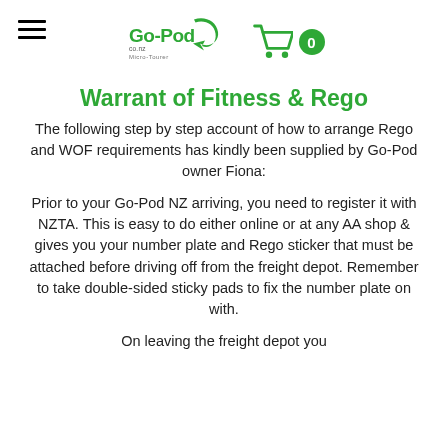Go-Pod Micro-Tourer logo and cart icon with 0 items
Warrant of Fitness & Rego
The following step by step account of how to arrange Rego and WOF requirements has kindly been supplied by Go-Pod owner Fiona:
Prior to your Go-Pod NZ arriving, you need to register it with NZTA. This is easy to do either online or at any AA shop & gives you your number plate and Rego sticker that must be attached before driving off from the freight depot. Remember to take double-sided sticky pads to fix the number plate on with.
On leaving the freight depot you